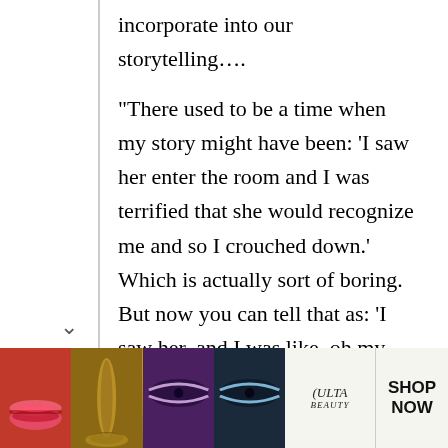incorporate into our storytelling….

“There used to be a time when my story might have been: ‘I saw her enter the room and I was terrified that she would recognize me and so I crouched down.’ Which is actually sort of boring. But now you can tell that as: ‘I saw her, and I was like, oh my god! I was like, what if she sees me? I was like, oh my god, I’ve gotta hide. I was like, what am I supposed to say to her?’ And it can go on. I’ve seen it
[Figure (other): ULTA Beauty advertisement banner showing close-up makeup images (lips, brush, eyes) with ULTA logo and SHOP NOW call to action]